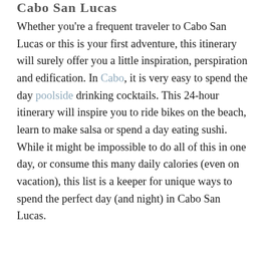Cabo San Lucas
Whether you're a frequent traveler to Cabo San Lucas or this is your first adventure, this itinerary will surely offer you a little inspiration, perspiration and edification. In Cabo, it is very easy to spend the day poolside drinking cocktails. This 24-hour itinerary will inspire you to ride bikes on the beach, learn to make salsa or spend a day eating sushi. While it might be impossible to do all of this in one day, or consume this many daily calories (even on vacation), this list is a keeper for unique ways to spend the perfect day (and night) in Cabo San Lucas.